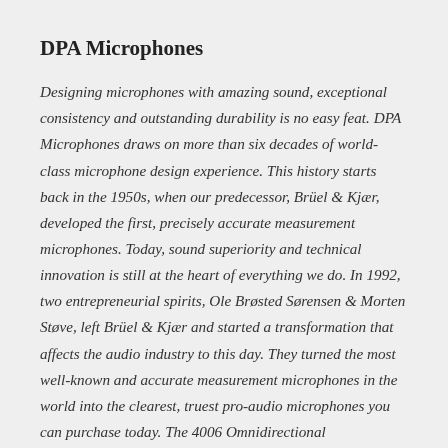DPA Microphones
Designing microphones with amazing sound, exceptional consistency and outstanding durability is no easy feat. DPA Microphones draws on more than six decades of world-class microphone design experience. This history starts back in the 1950s, when our predecessor, Brüel & Kjær, developed the first, precisely accurate measurement microphones. Today, sound superiority and technical innovation is still at the heart of everything we do. In 1992, two entrepreneurial spirits, Ole Brøsted Sørensen & Morten Støve, left Brüel & Kjær and started a transformation that affects the audio industry to this day. They turned the most well-known and accurate measurement microphones in the world into the clearest, truest pro-audio microphones you can purchase today. The 4006 Omnidirectional